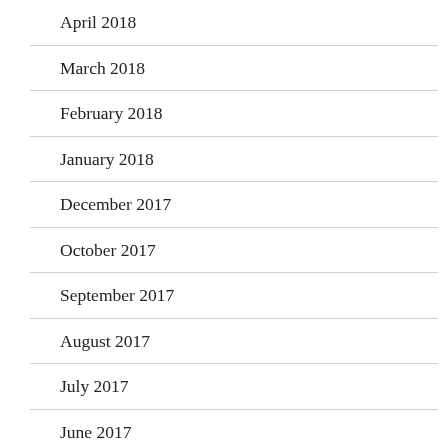April 2018
March 2018
February 2018
January 2018
December 2017
October 2017
September 2017
August 2017
July 2017
June 2017
May 2017